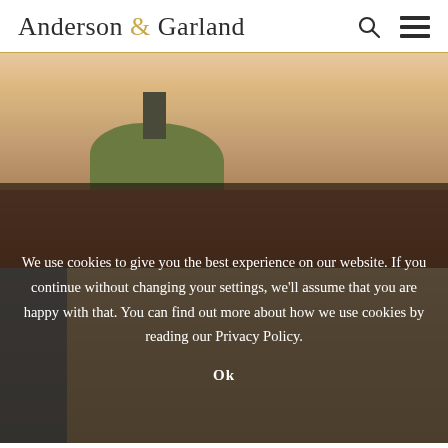Anderson & Garland
[Figure (illustration): A painting of a coastal town scene with rooftops, a hill with a tower/church, figures on a quay, and barrels. Sky is warm orange-yellow tones.]
We use cookies to give you the best experience on our website. If you continue without changing your settings, we'll assume that you are happy with that. You can find out more about how we use cookies by reading our Privacy Policy.
Ok